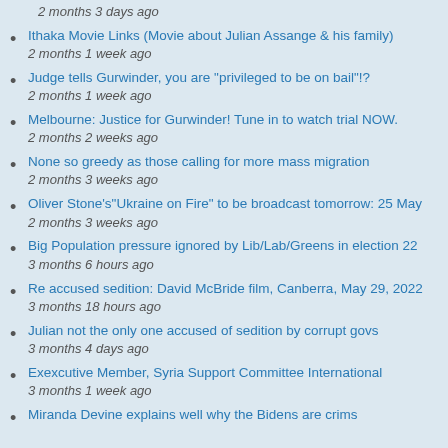2 months 3 days ago
Ithaka Movie Links (Movie about Julian Assange & his family)
2 months 1 week ago
Judge tells Gurwinder, you are "privileged to be on bail"!?
2 months 1 week ago
Melbourne: Justice for Gurwinder! Tune in to watch trial NOW.
2 months 2 weeks ago
None so greedy as those calling for more mass migration
2 months 3 weeks ago
Oliver Stone's"Ukraine on Fire" to be broadcast tomorrow: 25 May
2 months 3 weeks ago
Big Population pressure ignored by Lib/Lab/Greens in election 22
3 months 6 hours ago
Re accused sedition: David McBride film, Canberra, May 29, 2022
3 months 18 hours ago
Julian not the only one accused of sedition by corrupt govs
3 months 4 days ago
Exexcutive Member, Syria Support Committee International
3 months 1 week ago
Miranda Devine explains well why the Bidens are crims